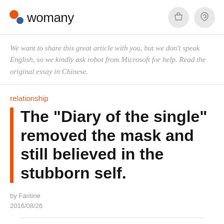womany
We want to share this great article with you, but we don't speak English, so we kindly ask robot from Microsoft for help. Read the original essay in Chinese.
relationship
The "Diary of the single" removed the mask and still believed in the stubborn self.
by Fantine
2016/08/26